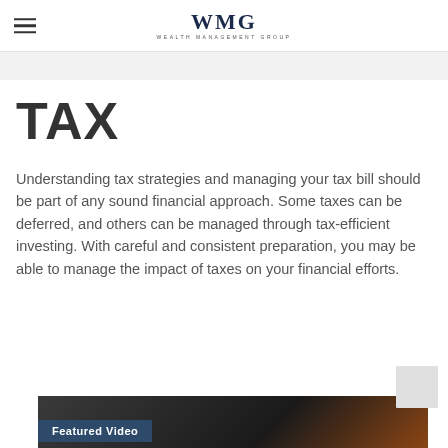WMG — WEALTH MANAGEMENT GROUP
TAX
Understanding tax strategies and managing your tax bill should be part of any sound financial approach. Some taxes can be deferred, and others can be managed through tax-efficient investing. With careful and consistent preparation, you may be able to manage the impact of taxes on your financial efforts.
[Figure (screenshot): Featured Video thumbnail showing a dark background with partial image content and a 'Featured Video' label overlay in the lower left.]